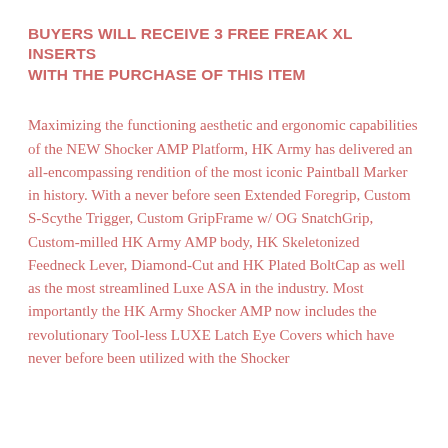BUYERS WILL RECEIVE 3 FREE FREAK XL INSERTS WITH THE PURCHASE OF THIS ITEM
Maximizing the functioning aesthetic and ergonomic capabilities of the NEW Shocker AMP Platform, HK Army has delivered an all-encompassing rendition of the most iconic Paintball Marker in history. With a never before seen Extended Foregrip, Custom S-Scythe Trigger, Custom GripFrame w/ OG SnatchGrip, Custom-milled HK Army AMP body, HK Skeletonized Feedneck Lever, Diamond-Cut and HK Plated BoltCap as well as the most streamlined Luxe ASA in the industry. Most importantly the HK Army Shocker AMP now includes the revolutionary Tool-less LUXE Latch Eye Covers which have never before been utilized with the Shocker